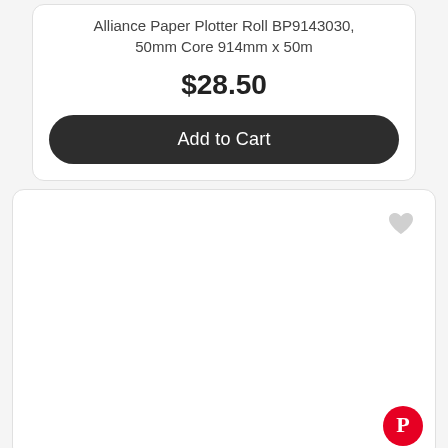Alliance Paper Plotter Roll BP9143030, 50mm Core 914mm x 50m
$28.50
Add to Cart
[Figure (other): Empty product card with a heart/wishlist icon in top right corner and a Pinterest button in the bottom right corner]